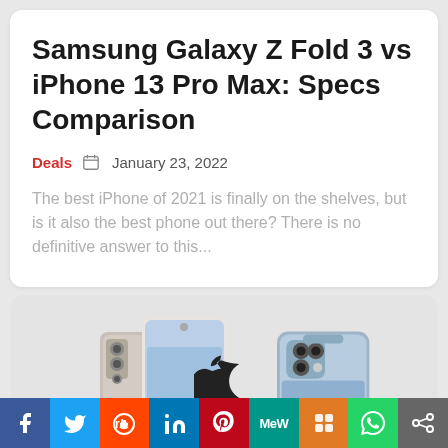Samsung Galaxy Z Fold 3 vs iPhone 13 Pro Max: Specs Comparison
Deals  January 23, 2022
The best iPhone of 2021 is finally on the shelves, but is it also the best phone out there? There is no definitive answer to this...
[Figure (photo): Promotional image showing Samsung Galaxy Z Fold 3 and iPhone 13 Pro Max side by side with an Apple logo in the center]
[Figure (infographic): Social media sharing bar with Facebook, Twitter, Reddit, LinkedIn, Pinterest, MeWe, Mix, WhatsApp, and Share buttons]